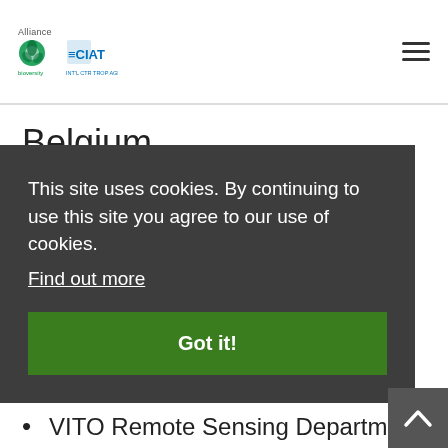Alliance Bioversity CIAT
Belgium
Barry Callebaut
Belcolade/Puratos
Botanic Garden Meise
Chocolate, Biscuits & Confectionary of
This site uses cookies. By continuing to use this site you agree to our use of cookies. Find out more
Got it!
VITO Remote Sensing Department